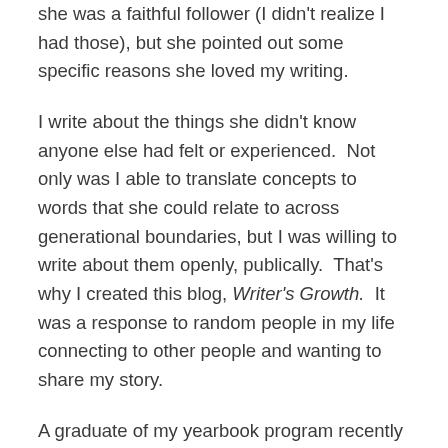she was a faithful follower (I didn't realize I had those), but she pointed out some specific reasons she loved my writing.
I write about the things she didn't know anyone else had felt or experienced.  Not only was I able to translate concepts to words that she could relate to across generational boundaries, but I was willing to write about them openly, publically.  That's why I created this blog, Writer's Growth.  It was a response to random people in my life connecting to other people and wanting to share my story.
A graduate of my yearbook program recently emailed me asking me for tips about starting her own blog.  Writing publically about your own life is not for everyone; in blogging club, we used to work through a